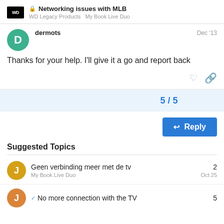Networking issues with MLB | WD Legacy Products | My Book Live Duo
dermots Dec '13
Thanks for your help. I'll give it a go and report back
5 / 5
Reply
Suggested Topics
Geen verbinding meer met de tv
My Book Live Duo
2
Oct 25
No more connection with the TV
5